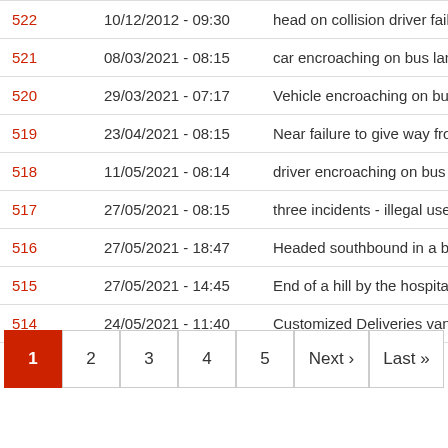| ID | Date/Time | Description |
| --- | --- | --- |
| 522 | 10/12/2012 - 09:30 | head on collision driver failed to give way |
| 521 | 08/03/2021 - 08:15 | car encroaching on bus lane at Rarc |
| 520 | 29/03/2021 - 07:17 | Vehicle encroaching on bus lane at b |
| 519 | 23/04/2021 - 08:15 | Near failure to give way from car at |
| 518 | 11/05/2021 - 08:14 | driver encroaching on bus lane from |
| 517 | 27/05/2021 - 08:15 | three incidents - illegal use of a bus lane |
| 516 | 27/05/2021 - 18:47 | Headed southbound in a bike lane m |
| 515 | 27/05/2021 - 14:45 | End of a hill by the hospital construc |
| 514 | 24/05/2021 - 11:40 | Customized Deliveries van passed o |
Pagination: 1 (active), 2, 3, 4, 5, Next›, Last»